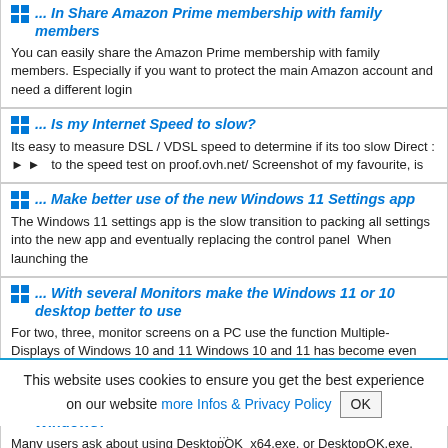... In Share Amazon Prime membership with family members
You can easily share the Amazon Prime membership with family members. Especially if you want to protect the main Amazon account and need a different login
... Is my Internet Speed to slow?
Its easy to measure DSL / VDSL speed to determine if its too slow Direct : ►► to the speed test on proof.ovh.net/ Screenshot of my favourite, is
... Make better use of the new Windows 11 Settings app
The Windows 11 settings app is the slow transition to packing all settings into the new app and eventually replacing the control panel. When launching the
... With several Monitors make the Windows 11 or 10 desktop better to use
For two, three, monitor screens on a PC use the function Multiple-Displays of Windows 10 and 11 Windows 10 and 11 has become even more user-friendly
... What is better x64, x32, x86 version of desktop ok on Windows?
Many users ask about using DesktopOK_x64.exe, or DesktopOK.exe, what should I use or what is better to use on my MS Windows OS Content: 1. The x64
This website uses cookies to ensure you get the best experience on our website more Infos & Privacy Policy OK